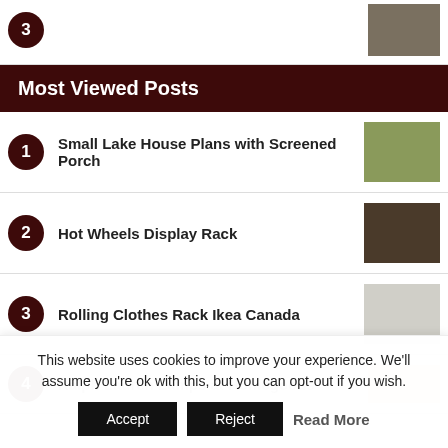3 (partial top item)
Most Viewed Posts
1 Small Lake House Plans with Screened Porch
2 Hot Wheels Display Rack
3 Rolling Clothes Rack Ikea Canada
4 Ralph Lauren Lamps at Homegoods
This website uses cookies to improve your experience. We'll assume you're ok with this, but you can opt-out if you wish. Accept Reject Read More